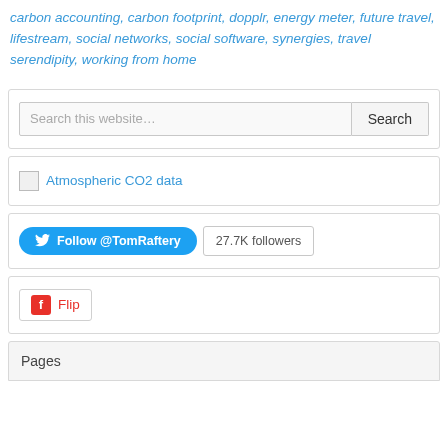carbon accounting, carbon footprint, dopplr, energy meter, future travel, lifestream, social networks, social software, synergies, travel serendipity, working from home
[Figure (screenshot): Search widget box with text input showing 'Search this website…' and a Search button]
[Figure (screenshot): Widget box containing a broken image icon followed by 'Atmospheric CO2 data' link text in blue]
[Figure (screenshot): Widget box with Twitter Follow @TomRaftery button in blue and '27.7K followers' count button]
[Figure (screenshot): Widget box with Flipboard 'Flip' button showing red Flipboard icon]
Pages